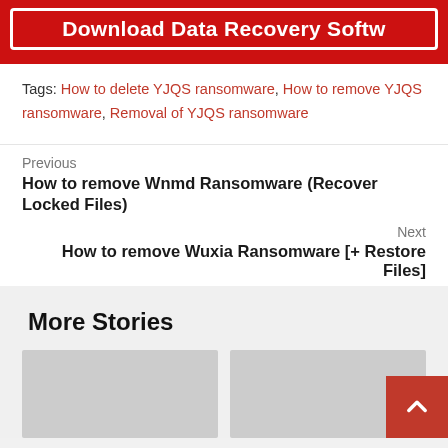[Figure (screenshot): Red banner with white border showing 'Download Data Recovery Softw...' text button]
Tags: How to delete YJQS ransomware, How to remove YJQS ransomware, Removal of YJQS ransomware
Previous
How to remove Wnmd Ransomware (Recover Locked Files)
Next
How to remove Wuxia Ransomware [+ Restore Files]
More Stories
[Figure (screenshot): Two gray placeholder story card images side by side, with a red scroll-to-top button on the right]